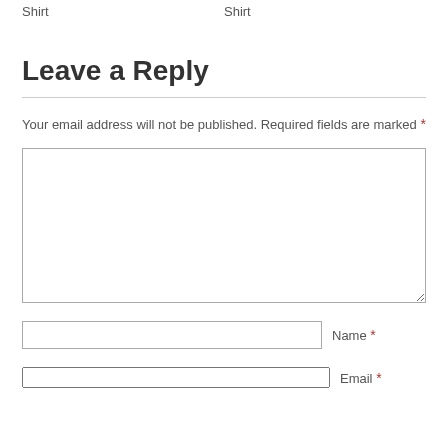Shirt    Shirt
Leave a Reply
Your email address will not be published. Required fields are marked *
[Figure (other): Comment text area input box]
Name *
[Figure (other): Name text input field]
Email *
[Figure (other): Email text input field]